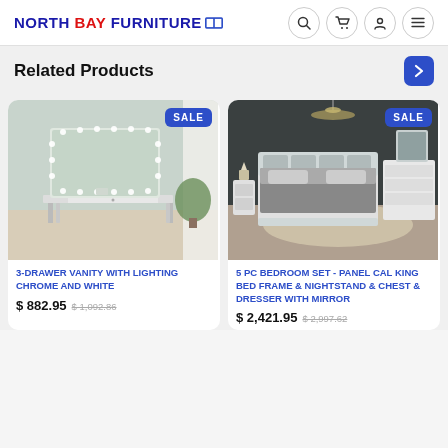NORTH BAY FURNITURE
Related Products
[Figure (photo): 3-drawer vanity with Hollywood mirror and lights, chrome and white, with a plant in a room setting. SALE badge.]
3-DRAWER VANITY WITH LIGHTING CHROME AND WHITE
$ 882.95  $1,092.86
[Figure (photo): 5 piece bedroom set with panel cal king bed frame, nightstands, chest and dresser with mirror in a room setting. SALE badge.]
5 PC BEDROOM SET - PANEL CAL KING BED FRAME & NIGHTSTAND & CHEST & DRESSER WITH MIRROR
$ 2,421.95  $2,997.62